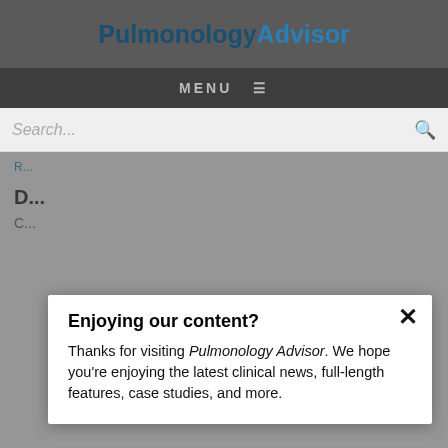Pulmonology Advisor
MENU
Search...
Enjoying our content?
Thanks for visiting Pulmonology Advisor. We hope you’re enjoying the latest clinical news, full-length features, case studies, and more.
NEXT POST IN OBSTRUCTIVE LUNG DISEASE
Symptomatic Undiagnosed COPD and Asthma: Disease Burden and Quality of Life
LOGIN
REGISTER